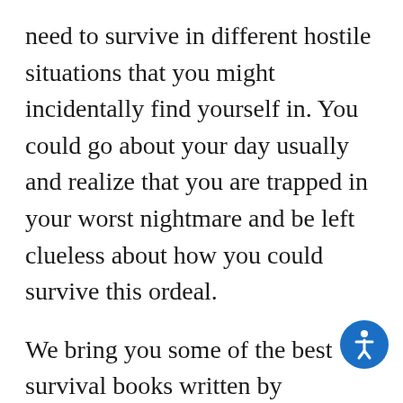need to survive in different hostile situations that you might incidentally find yourself in. You could go about your day usually and realize that you are trapped in your worst nightmare and be left clueless about how you could survive this ordeal.
We bring you some of the best survival books written by professional experts who are fully aware of all the survival skills needed for you to get out there and face whatever is thrown at you. If you feel things are getting out of control, you could be better prepared by using the survival kit or survival handbook that we have listed out, and we can assure you that they have all the information you need.
Depending on your situation or plan to be in, you could seek help from the survival guide you purchase. To begin with, you don't need any advanced or even